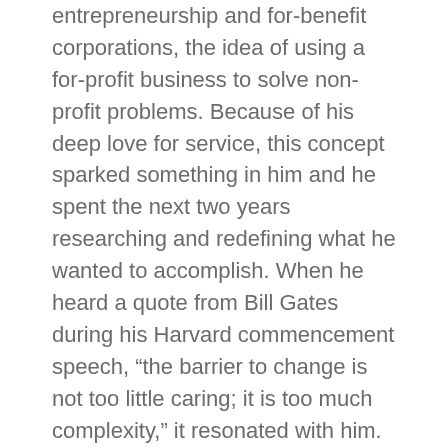entrepreneurship and for-benefit corporations, the idea of using a for-profit business to solve non-profit problems. Because of his deep love for service, this concept sparked something in him and he spent the next two years researching and redefining what he wanted to accomplish. When he heard a quote from Bill Gates during his Harvard commencement speech, “the barrier to change is not too little caring; it is too much complexity,” it resonated with him. Having had difficulties finding out about volunteer opportunities and local nonprofit events, he understood exactly what some of the barriers to involvement can be. He soon realized that organizing all the nonprofit